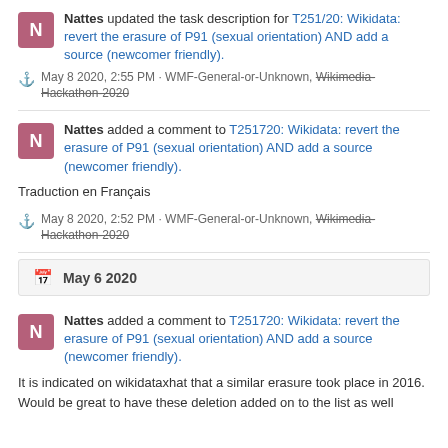Nattes updated the task description for T251/20: Wikidata: revert the erasure of P91 (sexual orientation) AND add a source (newcomer friendly).
May 8 2020, 2:55 PM · WMF-General-or-Unknown, Wikimedia-Hackathon-2020
Nattes added a comment to T251720: Wikidata: revert the erasure of P91 (sexual orientation) AND add a source (newcomer friendly).
Traduction en Français
May 8 2020, 2:52 PM · WMF-General-or-Unknown, Wikimedia-Hackathon-2020
May 6 2020
Nattes added a comment to T251720: Wikidata: revert the erasure of P91 (sexual orientation) AND add a source (newcomer friendly).
It is indicated on wikidataxhat that a similar erasure took place in 2016. Would be great to have these deletion added on to the list as well